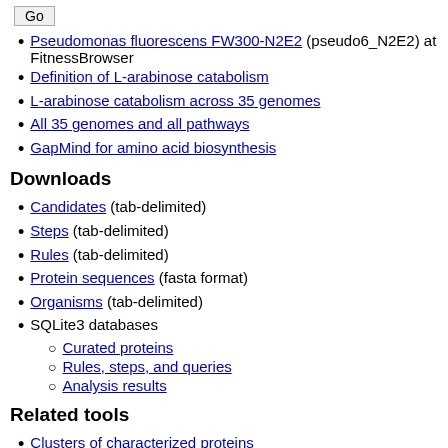Pseudomonas fluorescens FW300-N2E2 (pseudo6_N2E2) at FitnessBrowser
Definition of L-arabinose catabolism
L-arabinose catabolism across 35 genomes
All 35 genomes and all pathways
GapMind for amino acid biosynthesis
Downloads
Candidates (tab-delimited)
Steps (tab-delimited)
Rules (tab-delimited)
Protein sequences (fasta format)
Organisms (tab-delimited)
SQLite3 databases
Curated proteins
Rules, steps, and queries
Analysis results
Related tools
Clusters of characterized proteins
PaperBLAST: Find papers about a protein or its homologs